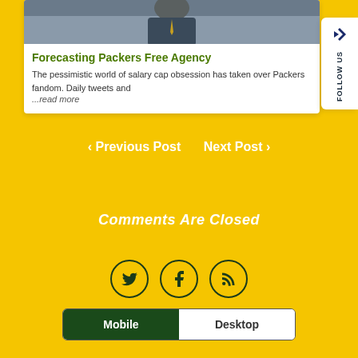[Figure (photo): Photo of a person in a suit at the top of a card]
Forecasting Packers Free Agency
The pessimistic world of salary cap obsession has taken over Packers fandom. Daily tweets and ...read more
< Previous Post   Next Post >
Comments Are Closed
[Figure (infographic): Social media icons: Twitter, Facebook, RSS feed in circles]
Mobile   Desktop